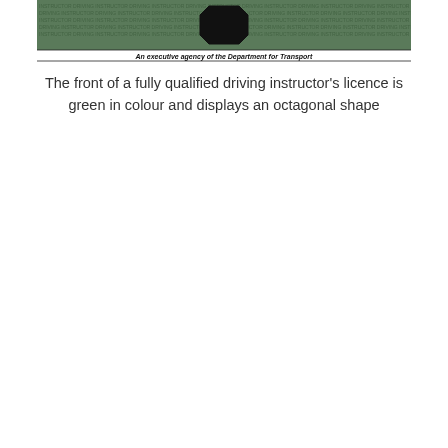[Figure (illustration): Bottom portion of a driving instructor's licence card showing a black octagonal shape centred on a green background with repeating text 'DRIVING INSTRUCTOR' and the text 'An executive agency of the Department for Transport' at the bottom in black on a white banner.]
The front of a fully qualified driving instructor's licence is green in colour and displays an octagonal shape